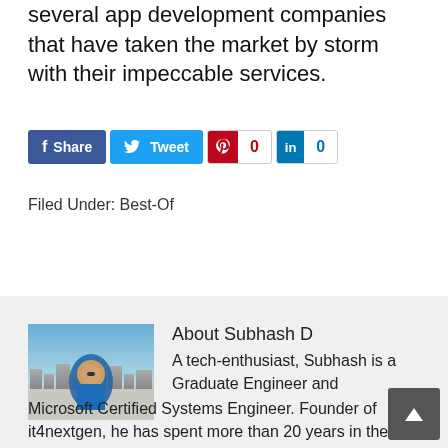several app development companies that have taken the market by storm with their impeccable services.
[Figure (other): Social sharing buttons: Facebook Share, Twitter tweet, Pinterest with count 0, LinkedIn with count 0]
Filed Under: Best-Of
[Figure (photo): Photo of Subhash D, a man in blue shirt with sunglasses against a cityscape background]
About Subhash D
A tech-enthusiast, Subhash is a Graduate Engineer and Microsoft Certified Systems Engineer. Founder of it4nextgen, he has spent more than 20 years in the IT industry.